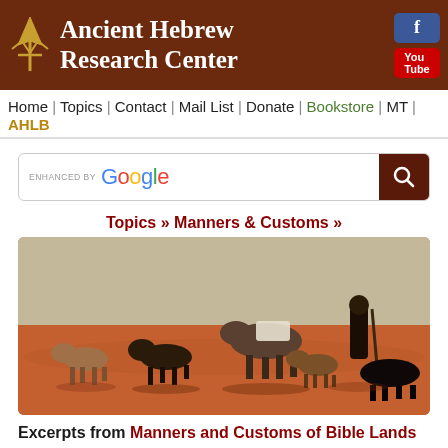Ancient Hebrew Research Center
Home | Topics | Contact | Mail List | Donate | Bookstore | MT | AHLB
ENHANCED BY Google [search button]
Topics » Manners & Customs »
[Figure (photo): A shepherd with goats and a donkey walking in a desert landscape with red sandy ground]
Excerpts from Manners and Customs of Bible Lands